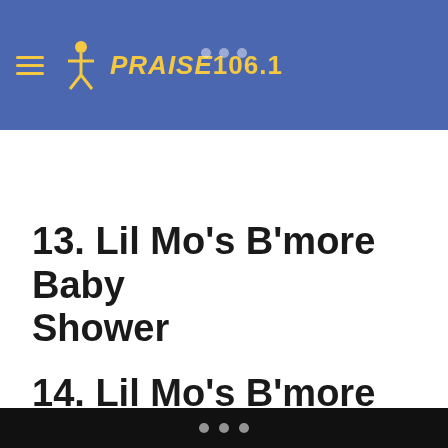PRAISE 106.1
13. Lil Mo's B'more Baby Shower
14. Lil Mo's B'more Baby Shower
• • •